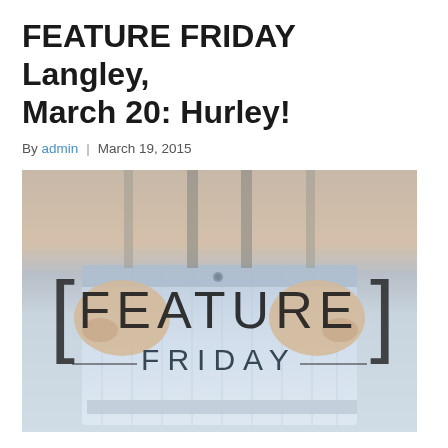FEATURE FRIDAY Langley, March 20: Hurley!
By admin | March 19, 2015
[Figure (photo): Person wearing light blue denim shorts, hands at waist holding the waistband. Overlaid text reads '[FEATURE FRIDAY]' in large stylized letters with bracket decorations.]